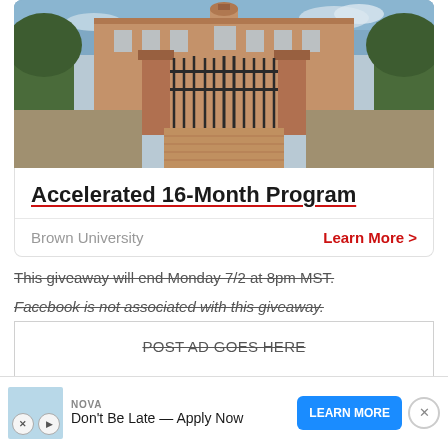[Figure (photo): Photograph of a university building entrance gate — red brick gate posts with ornate black iron gates, brick pathway leading to a large brick academic building with cupola, trees visible on sides]
Accelerated 16-Month Program
Brown University    Learn More >
This giveaway will end Monday 7/2 at 8pm MST.
Facebook is not associated with this giveaway.
POST AD GOES HERE
This post may contain affiliate links or sponsored content, read
our Disc
NOVA
Don't Be Late — Apply Now    LEARN MORE    X